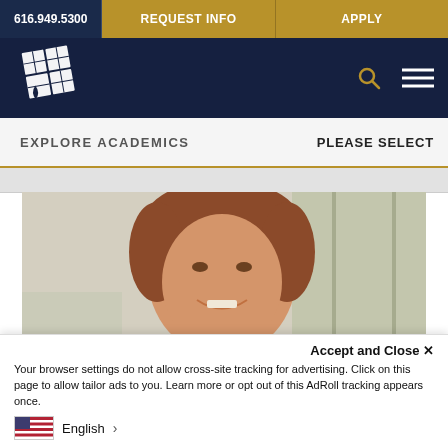616.949.5300 | REQUEST INFO | APPLY
[Figure (logo): College logo — white diamond/leaf shape on dark navy background with search icon and hamburger menu]
EXPLORE ACADEMICS
PLEASE SELECT
[Figure (photo): Smiling young man with reddish-brown hair wearing a dark jacket, photographed indoors near windows]
Accept and Close ×
Your browser settings do not allow cross-site tracking for advertising. Click on this page to allow tailor ads to you. Learn more or opt out of this AdRoll tracking appears once.
English >